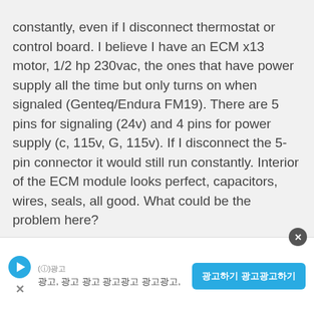constantly, even if I disconnect thermostat or control board. I believe I have an ECM x13 motor, 1/2 hp 230vac, the ones that have power supply all the time but only turns on when signaled (Genteq/Endura FM19). There are 5 pins for signaling (24v) and 4 pins for power supply (c, 115v, G, 115v). If I disconnect the 5-pin connector it would still run constantly. Interior of the ECM module looks perfect, capacitors, wires, seals, all good. What could be the problem here?